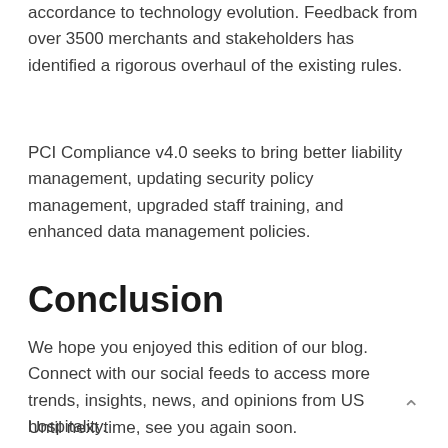accordance to technology evolution. Feedback from over 3500 merchants and stakeholders has identified a rigorous overhaul of the existing rules.
PCI Compliance v4.0 seeks to bring better liability management, updating security policy management, upgraded staff training, and enhanced data management policies.
Conclusion
We hope you enjoyed this edition of our blog. Connect with our social feeds to access more trends, insights, news, and opinions from US hospitality.
Until next time, see you again soon.